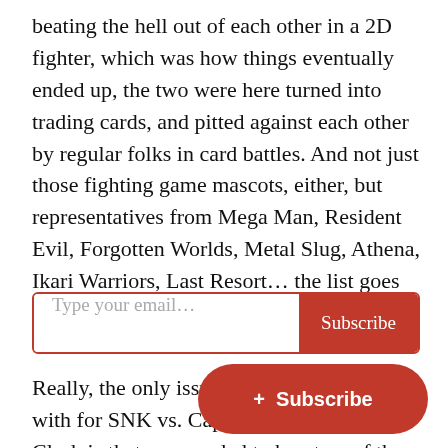beating the hell out of each other in a 2D fighter, which was how things eventually ended up, the two were here turned into trading cards, and pitted against each other by regular folks in card battles. And not just those fighting game mascots, either, but representatives from Mega Man, Resident Evil, Forgotten Worlds, Metal Slug, Athena, Ikari Warriors, Last Resort… the list goes on, for both sides.
[Figure (other): Email subscription input box with placeholder 'Type your email...' and a red 'Subscribe' button on the right.]
Really, the only issue you could come up with for SNK vs. Capcom: Card Fighters' Clash is that you needed to buy two of them — one with the Capcom starting deck and exclusives, and a matching SNK in order to manage the proverbial cate e.
[Figure (other): Floating red pill-shaped Subscribe button with a plus icon, overlaying the bottom text.]